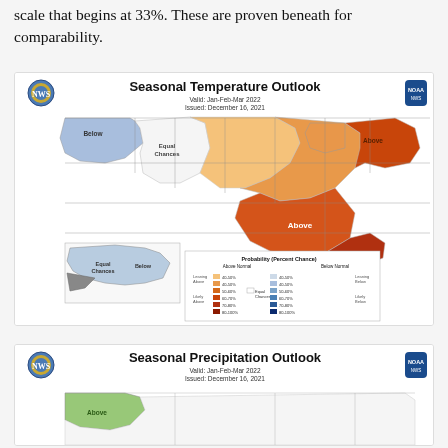scale that begins at 33%. These are proven beneath for comparability.
[Figure (map): NOAA Seasonal Temperature Outlook map for Jan-Feb-Mar 2022, issued December 16, 2021. Shows probability of above-normal temperatures across much of the US (especially Southeast and Northeast), equal chances in parts of the Mountain West, and below-normal temperatures in the Pacific Northwest. Alaska shown with equal chances and below-normal areas. Color legend shows probability ranges from leaning above (40-50%) through likely above (60-100%) in orange/red, and leaning below through likely below in blue, with equal chances shown in white.]
[Figure (map): NOAA Seasonal Precipitation Outlook map for Jan-Feb-Mar 2022, issued December 16, 2021. Shows above-normal precipitation in the Pacific Northwest (green shading). Partial view at bottom of page.]